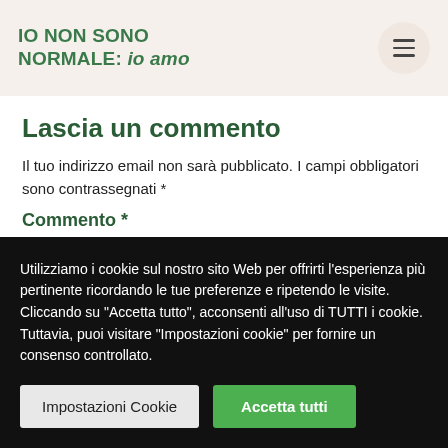IO NON SONO NORMALE: io amo
Lascia un commento
Il tuo indirizzo email non sarà pubblicato. I campi obbligatori sono contrassegnati *
Commento *
Utilizziamo i cookie sul nostro sito Web per offrirti l'esperienza più pertinente ricordando le tue preferenze e ripetendo le visite. Cliccando su "Accetta tutto", acconsenti all'uso di TUTTI i cookie. Tuttavia, puoi visitare "Impostazioni cookie" per fornire un consenso controllato.
Impostazioni Cookie | Accetta tutti